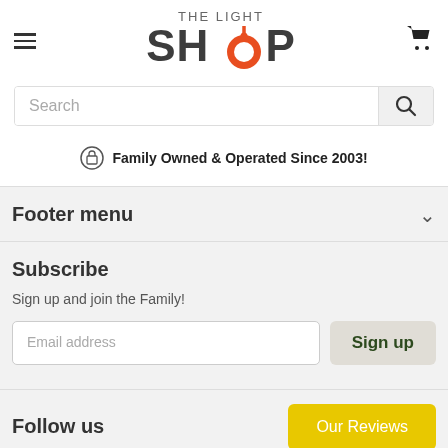[Figure (logo): The Light Shop logo with hamburger menu and cart icon]
Search
Family Owned & Operated Since 2003!
Footer menu
Subscribe
Sign up and join the Family!
Email address
Sign up
Follow us
Our Reviews